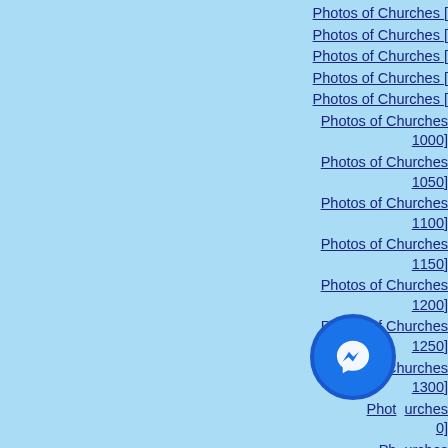Photos of Churches [
Photos of Churches [
Photos of Churches [
Photos of Churches [
Photos of Churches [
Photos of Churches 1000]
Photos of Churches 1050]
Photos of Churches 1100]
Photos of Churches 1150]
Photos of Churches 1200]
Photos of Churches 1250]
Photos of Churches 1300]
Photos of Churches 0]
Photos of Churches 1400]
[Figure (other): Facebook Messenger chat button icon (blue circle with white lightning bolt/chat icon)]